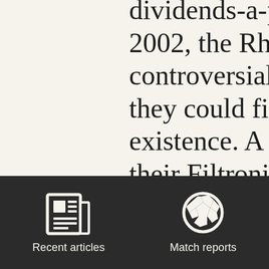dividends-a-plenty pol 2002, the Rhodes fami controversial dividend they could financially existence. A fortune bu their Filtronics compar obvious love of the Ba they were helped by G were once again the on alongside supporters w to raise money to keep
[Figure (infographic): Dark footer navigation bar with two icons: a newspaper icon labeled 'Recent articles' and a soccer ball icon labeled 'Match reports']